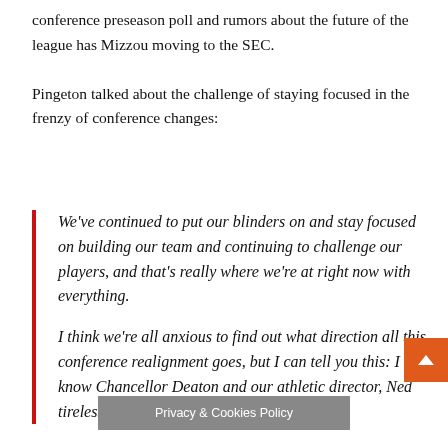conference preseason poll and rumors about the future of the league has Mizzou moving to the SEC.
Pingeton talked about the challenge of staying focused in the frenzy of conference changes:
We've continued to put our blinders on and stay focused on building our team and continuing to challenge our players, and that's really where we're at right now with everything.

I think we're all anxious to find out what direction all this conference realignment goes, but I can tell you this: I know Chancellor Deaton and our athletic director, [name] worked tirelessly at trying to [protect our] players